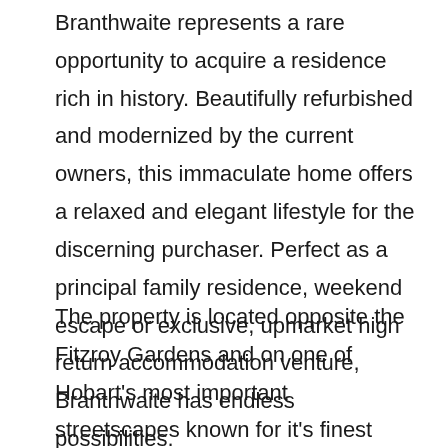Branthwaite represents a rare opportunity to acquire a residence rich in history. Beautifully refurbished and modernized by the current owners, this immaculate home offers a relaxed and elegant lifestyle for the discerning purchaser. Perfect as a principal family residence, weekend escape or exclusive, upmarket high return accommodation venture, Branthwaite has endless possibilities.
The property is located opposite the Fitzroy Gardens and on one of Hobart's most important streetscapes known for it's finest Georgian, Victorian and Federation